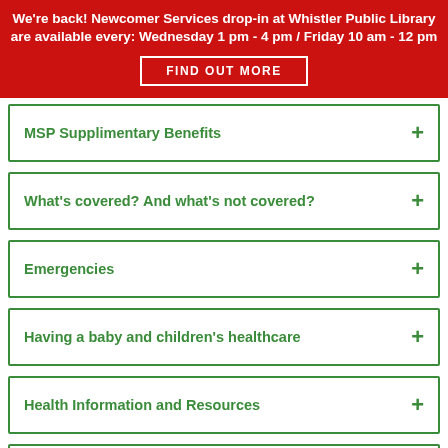We're back! Newcomer Services drop-in at Whistler Public Library are available every: Wednesday 1 pm - 4 pm / Friday 10 am - 12 pm
FIND OUT MORE
MSP Supplimentary Benefits
What's covered? And what's not covered?
Emergencies
Having a baby and children's healthcare
Health Information and Resources
Pemberton Healthcare Services